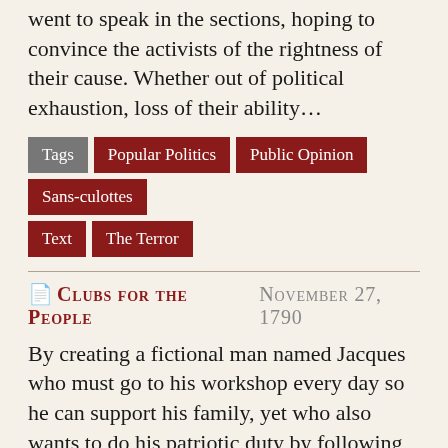went to speak in the sections, hoping to convince the activists of the rightness of their cause. Whether out of political exhaustion, loss of their ability…
Tags: Popular Politics, Public Opinion, Sans-culottes, Text, The Terror
Clubs for the People  November 27, 1790
By creating a fictional man named Jacques who must go to his workshop every day so he can support his family, yet who also wants to do his patriotic duty by following political events, the Révolutions de Paris, in this article that appeared in…